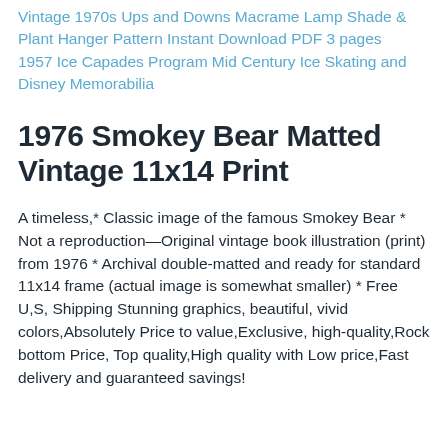Vintage 1970s Ups and Downs Macrame Lamp Shade & Plant Hanger Pattern Instant Download PDF 3 pages
1957 Ice Capades Program Mid Century Ice Skating and Disney Memorabilia
1976 Smokey Bear Matted Vintage 11x14 Print
A timeless,* Classic image of the famous Smokey Bear * Not a reproduction—Original vintage book illustration (print) from 1976 * Archival double-matted and ready for standard 11x14 frame (actual image is somewhat smaller) * Free U,S, Shipping Stunning graphics, beautiful, vivid colors,Absolutely Price to value,Exclusive, high-quality,Rock bottom Price, Top quality,High quality with Low price,Fast delivery and guaranteed savings!